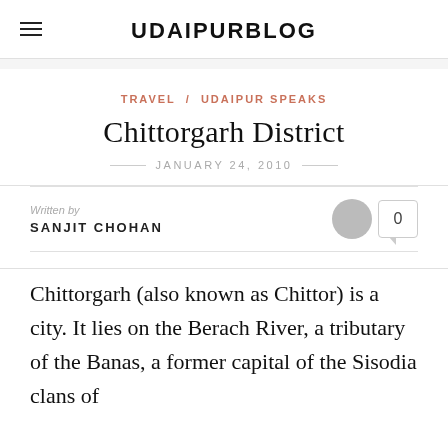UDAIPURBLOG
TRAVEL / UDAIPUR SPEAKS
Chittorgarh District
JANUARY 24, 2010
Written by
SANJIT CHOHAN
Chittorgarh (also known as Chittor) is a city. It lies on the Berach River, a tributary of the Banas, a former capital of the Sisodia clans of